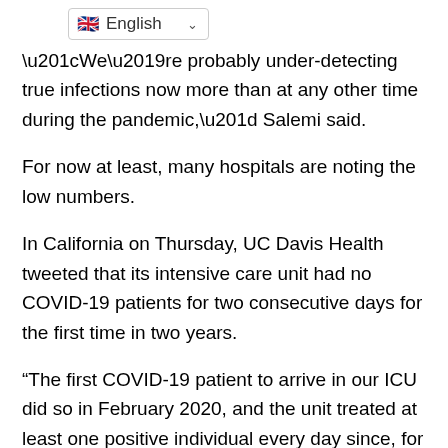English
“We’re probably under-detecting true infections now more than at any other time during the pandemic,” Salemi said.
For now at least, many hospitals are noting the low numbers.
In California on Thursday, UC Davis Health tweeted that its intensive care unit had no COVID-19 patients for two consecutive days for the first time in two years.
“The first COVID-19 patient to arrive in our ICU did so in February 2020, and the unit treated at least one positive individual every day since, for at least 761 consecutive days,” the hospital system said.
Toby Marsh, the chief nursing and patient care services officer, said in a statement that they hope the numbers “are